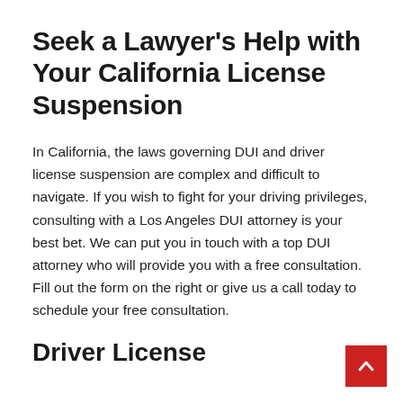Seek a Lawyer's Help with Your California License Suspension
In California, the laws governing DUI and driver license suspension are complex and difficult to navigate. If you wish to fight for your driving privileges, consulting with a Los Angeles DUI attorney is your best bet. We can put you in touch with a top DUI attorney who will provide you with a free consultation. Fill out the form on the right or give us a call today to schedule your free consultation.
Driver License